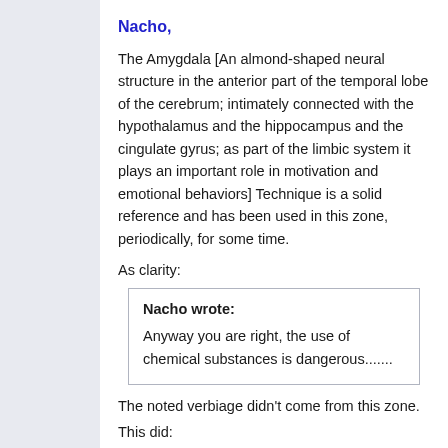Nacho,
The Amygdala [An almond-shaped neural structure in the anterior part of the temporal lobe of the cerebrum; intimately connected with the hypothalamus and the hippocampus and the cingulate gyrus; as part of the limbic system it plays an important role in motivation and emotional behaviors] Technique is a solid reference and has been used in this zone, periodically, for some time.
As clarity:
Nacho wrote:
Anyway you are right, the use of chemical substances is dangerous.......
The noted verbiage didn't come from this zone.
This did: